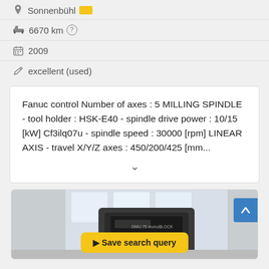Sonnenbühl [badge]
6670 km ?
2009
excellent (used)
Fanuc control Number of axes : 5 MILLING SPINDLE - tool holder : HSK-E40 - spindle drive power : 10/15 [kW] Cf3ilq07u - spindle speed : 30000 [rpm] LINEAR AXIS - travel X/Y/Z axes : 450/200/425 [mm...
[Figure (photo): CNC milling machine photo, partially visible, industrial setting]
Save search query